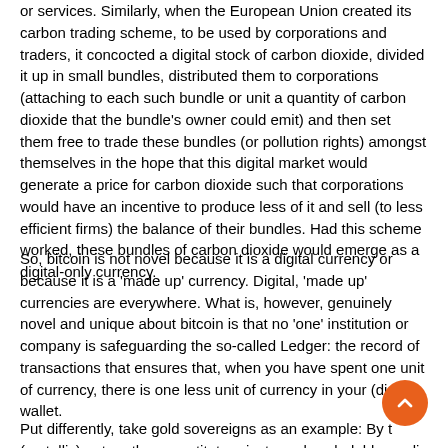or services. Similarly, when the European Union created its carbon trading scheme, to be used by corporations and traders, it concocted a digital stock of carbon dioxide, divided it up in small bundles, distributed them to corporations (attaching to each such bundle or unit a quantity of carbon dioxide that the bundle's owner could emit) and then set them free to trade these bundles (or pollution rights) amongst themselves in the hope that this digital market would generate a price for carbon dioxide such that corporations would have an incentive to produce less of it and sell (to less efficient firms) the balance of their bundles. Had this scheme worked, these bundles of carbon dioxide would emerge as a digital-only currency.
So, bitcoin is not novel because it is a digital currency or because it is a 'made up' currency. Digital, 'made up' currencies are everywhere. What is, however, genuinely novel and unique about bitcoin is that no 'one' institution or company is safeguarding the so-called Ledger: the record of transactions that ensures that, when you have spent one unit of currency, there is one less unit of currency in your (digital) wallet.
Put differently, take gold sovereigns as an example: By the (metallic) nature they constitute private and excludable media